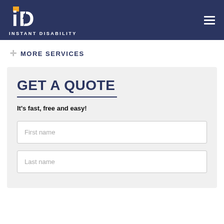[Figure (logo): Instant Disability logo with stylized 'iD' bolt icon in white and orange on dark navy background, with text 'INSTANT DISABILITY']
+ MORE SERVICES
GET A QUOTE
It's fast, free and easy!
First name
Last name